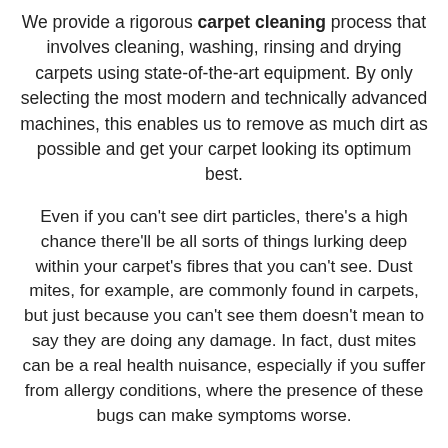We provide a rigorous carpet cleaning process that involves cleaning, washing, rinsing and drying carpets using state-of-the-art equipment. By only selecting the most modern and technically advanced machines, this enables us to remove as much dirt as possible and get your carpet looking its optimum best.
Even if you can't see dirt particles, there's a high chance there'll be all sorts of things lurking deep within your carpet's fibres that you can't see. Dust mites, for example, are commonly found in carpets, but just because you can't see them doesn't mean to say they are doing any damage. In fact, dust mites can be a real health nuisance, especially if you suffer from allergy conditions, where the presence of these bugs can make symptoms worse.